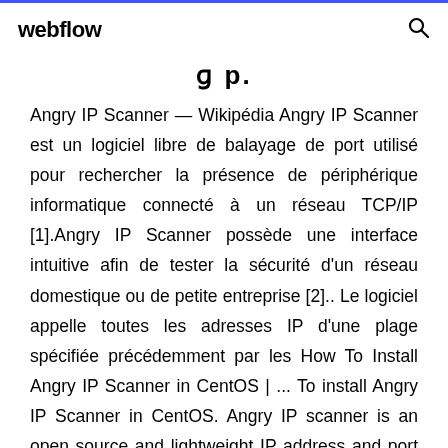webflow
g p
Angry IP Scanner — Wikipédia Angry IP Scanner est un logiciel libre de balayage de port utilisé pour rechercher la présence de périphérique informatique connecté à un réseau TCP/IP [1].Angry IP Scanner possède une interface intuitive afin de tester la sécurité d'un réseau domestique ou de petite entreprise [2].. Le logiciel appelle toutes les adresses IP d'une plage spécifiée précédemment par les How To Install Angry IP Scanner in CentOS | ... To install Angry IP Scanner in CentOS. Angry IP scanner is an open source and lightweight IP address and port scanner.Its capable of scanning IP addresses in any range by pinging each IP